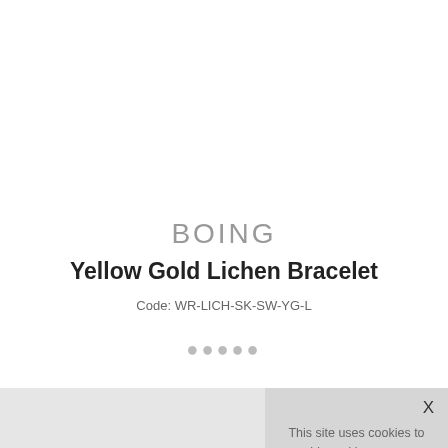BOING
Yellow Gold Lichen Bracelet
Code: WR-LICH-SK-SW-YG-L
Loading...
PRODUCT DESCR
DELIVERY & RET
[Figure (screenshot): Cookie consent popup overlay with text: This site uses cookies to provide and improve your shopping experience. If you want to benefit from this improved service, please opt-in. Cookies Page. I opt-in to a better browsing experience. ACCEPT COOKIES button. Close X button.]
A lichen green coloured contemporary bracelet made from